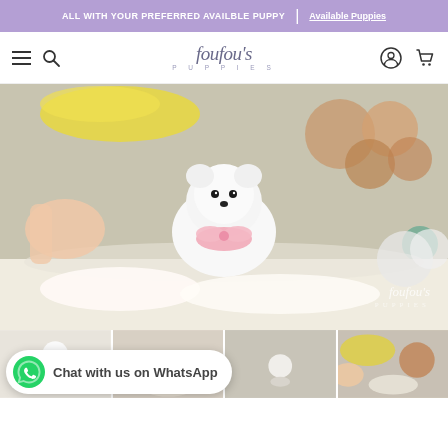ALL WITH YOUR PREFERRED AVAILBLE PUPPY | Available Puppies
[Figure (logo): Foufou's Puppies logo in cursive script with 'PUPPIES' subtitle]
[Figure (photo): White teacup Pomeranian puppy wearing a pink bow/accessory, sitting on a fluffy white rug surrounded by stuffed animal toys. A person's hand is visible on the left. Foufou's Puppies watermark in bottom right.]
[Figure (photo): Thumbnail row showing partial views of the puppy from different angles]
Chat with us on WhatsApp